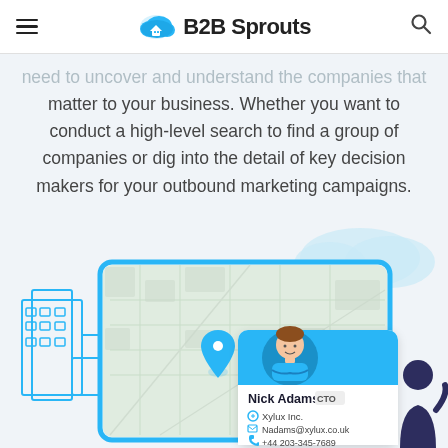B2B Sprouts
need to uncover and understand the companies that matter to your business. Whether you want to conduct a high-level search to find a group of companies or dig into the detail of key decision makers for your outbound marketing campaigns.
[Figure (illustration): Illustration showing a laptop with a map interface, a profile card for Nick Adams (CTO, Xylux Inc., Nadams@xylux.co.uk, +44 203-345-7689), a person avatar on the card, building icons on the left, a location pin, and a person silhouette on the right side.]